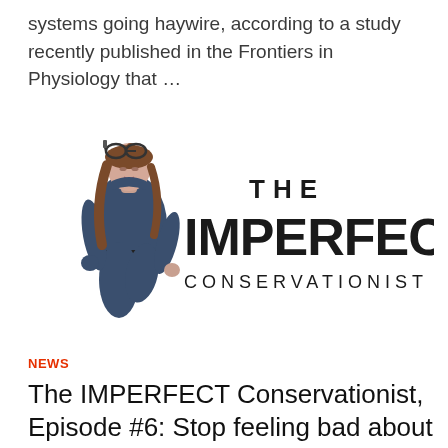systems going haywire, according to a study recently published in the Frontiers in Physiology that …
[Figure (logo): The Imperfect Conservationist logo featuring an illustrated woman in a blue wetsuit with diving goggles on her head, kneeling beside large bold text reading 'THE IMPERFECT CONSERVATIONIST']
NEWS
The IMPERFECT Conservationist, Episode #6: Stop feeling bad about YOUR